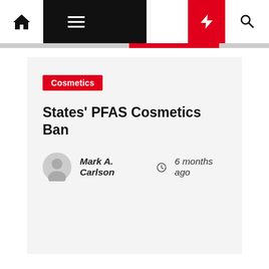Navigation bar with home, menu, moon, bolt, and search icons
Cosmetics
States' PFAS Cosmetics Ban
Mark A. Carlson  6 months ago